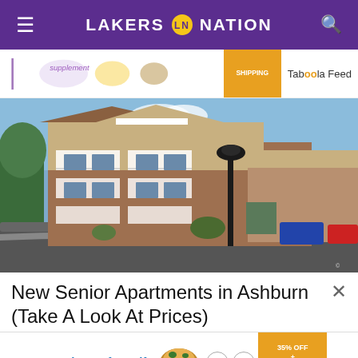LAKERS NATION
[Figure (screenshot): Taboola Feed ad banner with shipping badge and product imagery]
[Figure (photo): Exterior photo of a multi-story senior apartment complex in Ashburn, brick and beige siding, balconies, lamp post, parking lot]
New Senior Apartments in Ashburn (Take A Look At Prices)
[Figure (screenshot): Bottom advertisement: 'The perfect gift' with food imagery, navigation arrows, and '35% OFF + FREE SHIPPING' badge]